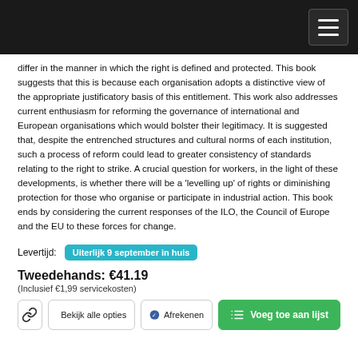differ in the manner in which the right is defined and protected. This book suggests that this is because each organisation adopts a distinctive view of the appropriate justificatory basis of this entitlement. This work also addresses current enthusiasm for reforming the governance of international and European organisations which would bolster their legitimacy. It is suggested that, despite the entrenched structures and cultural norms of each institution, such a process of reform could lead to greater consistency of standards relating to the right to strike. A crucial question for workers, in the light of these developments, is whether there will be a 'levelling up' of rights or diminishing protection for those who organise or participate in industrial action. This book ends by considering the current responses of the ILO, the Council of Europe and the EU to these forces for change.
Levertijd: Uiterlijk 9 september in huis
Tweedehands: €41.19
(Inclusief €1,99 servicekosten)